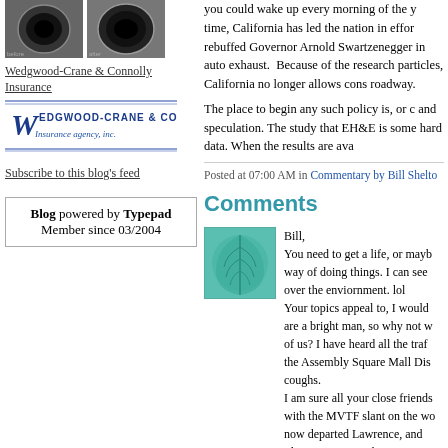[Figure (photo): Two circular duct cross-section photos side by side]
Wedgwood-Crane & Connolly Insurance
[Figure (logo): Wedgwood-Crane & Connolly Insurance agency, inc. logo in blue script and serif font]
Subscribe to this blog's feed
Blog powered by Typepad
Member since 03/2004
you could wake up every morning of the time, California has led the nation in efforts rebuffed Governor Arnold Swartzenegger in auto exhaust. Because of the research particles, California no longer allows cons roadway.
The place to begin any such policy is, or and speculation. The study that EH&E is some hard data. When the results are ava
Posted at 07:00 AM in Commentary by Bill Shelto
Comments
[Figure (photo): Green leaf pattern avatar image for commenter]
Bill,
You need to get a life, or mayb way of doing things. I can see over the enviornment. lol
Your topics appeal to, I would are a bright man, so why not w of us? I have heard all the traf the Assembly Square Mall Dis coughs.
I am sure all your close friends with the MVTF slant on the wo now departed Lawrence, and Please come into the proce